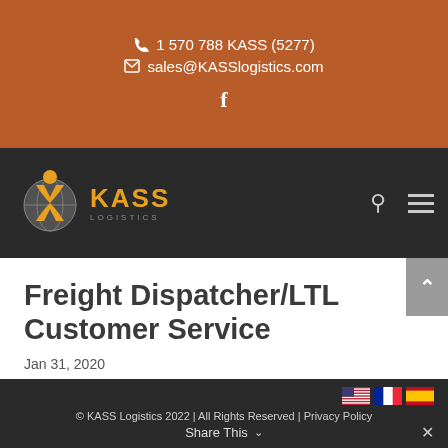1 570 788 KASS (5277) | sales@KASSlogistics.com
[Figure (logo): KASS Logistics logo with globe and orange eagle on dark nav bar]
Freight Dispatcher/LTL Customer Service
Jan 31, 2020
© KASS Logistics 2022 | All Rights Reserved | Privacy Policy | Share This